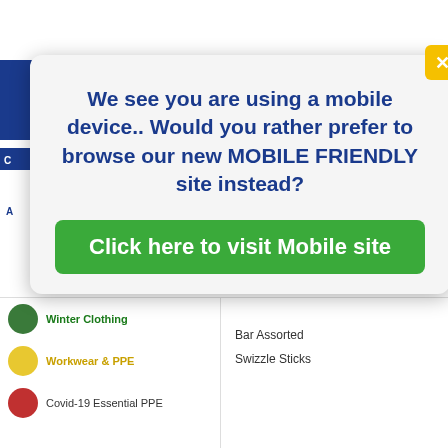[Figure (screenshot): Background website screenshot showing a retail/workwear website with blue and gold banner, navigation, and product categories including Winter Clothing, Workwear & PPE, Covid-19 Essential PPE]
We see you are using a mobile device.. Would you rather prefer to browse our new MOBILE FRIENDLY site instead?
Click here to visit Mobile site
Winter Clothing
Workwear & PPE
Covid-19 Essential PPE
Bar Assorted
Swizzle Sticks